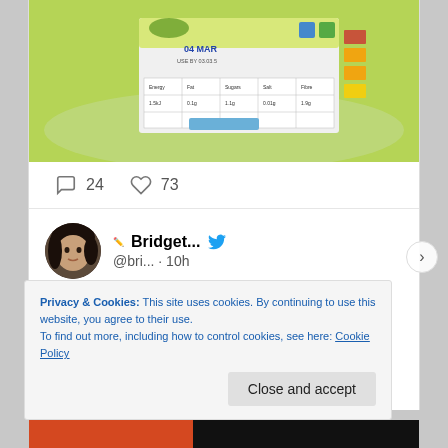[Figure (photo): Photo of a green food product packaging with a nutritional label showing date '04 MAR' and nutrition information grid]
24   73
Bridget... @bri... · 10h
Demi and Kiva laid together for a few minutes tonight. It seems like they're starting to become better friends!
1
Privacy & Cookies: This site uses cookies. By continuing to use this website, you agree to their use.
To find out more, including how to control cookies, see here: Cookie Policy
Close and accept